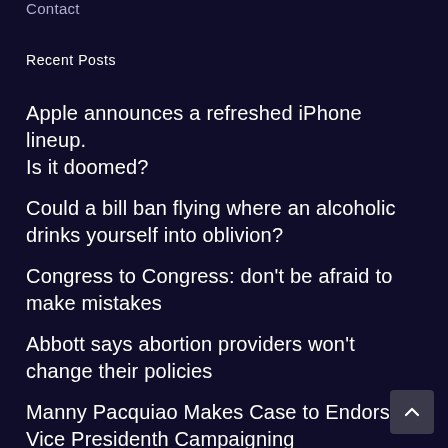Contact
Recent Posts
Apple announces a refreshed iPhone lineup. Is it doomed?
Could a bill ban flying where an alcoholic drinks yourself into oblivion?
Congress to Congress: don't be afraid to make mistakes
Abbott says abortion providers won't change their policies
Manny Pacquiao Makes Case to Endorse Vice Presidential Campaigning